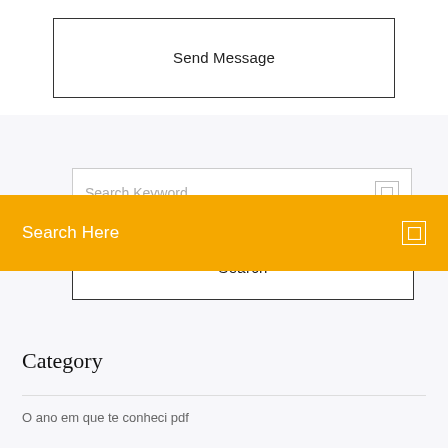[Figure (screenshot): Send Message button with border]
[Figure (screenshot): Search widget with Search Keyword input field and Search button]
Search Here
Category
O ano em que te conheci pdf